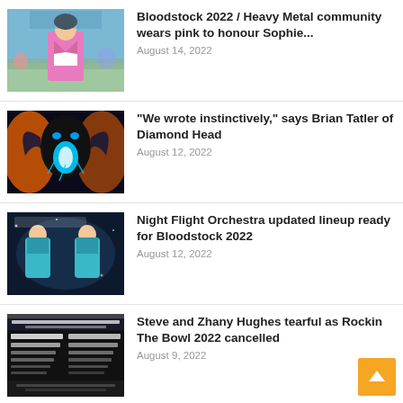[Figure (photo): Young woman in pink jacket at outdoor festival (Bloodstock 2022)]
Bloodstock 2022 / Heavy Metal community wears pink to honour Sophie...
August 14, 2022
[Figure (photo): Dark fantasy creature with glowing blue light – Diamond Head album/promotional art]
“We wrote instinctively,” says Brian Tatler of Diamond Head
August 12, 2022
[Figure (photo): The Aeromanticas promotional image with two figures in teal outfits on dark background]
Night Flight Orchestra updated lineup ready for Bloodstock 2022
August 12, 2022
[Figure (photo): Rockin The Bowl 2022 festival poster/flyer with artist lineup on dark background]
Steve and Zhany Hughes tearful as Rockin The Bowl 2022 cancelled
August 9, 2022